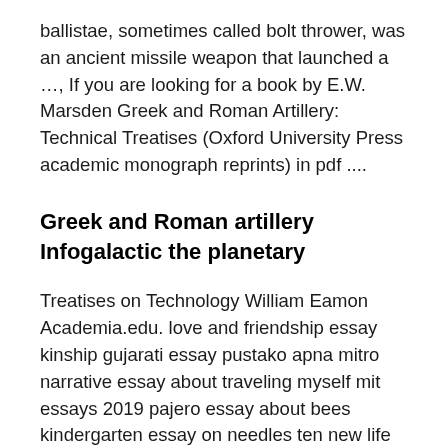ballistae, sometimes called bolt thrower, was an ancient missile weapon that launched a …, If you are looking for a book by E.W. Marsden Greek and Roman Artillery: Technical Treatises (Oxford University Press academic monograph reprints) in pdf ....
Greek and Roman artillery Infogalactic the planetary
Treatises on Technology William Eamon Academia.edu. love and friendship essay kinship gujarati essay pustako apna mitro narrative essay about traveling myself mit essays 2019 pajero essay about bees kindergarten essay on needles ten new life essay live to brown